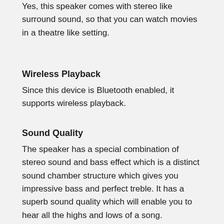Yes, this speaker comes with stereo like surround sound, so that you can watch movies in a theatre like setting.
Wireless Playback
Since this device is Bluetooth enabled, it supports wireless playback.
Sound Quality
The speaker has a special combination of stereo sound and bass effect which is a distinct sound chamber structure which gives you impressive bass and perfect treble. It has a superb sound quality which will enable you to hear all the highs and lows of a song.
Receive Incoming Calls
You can receive incoming calls through this speaker as it has